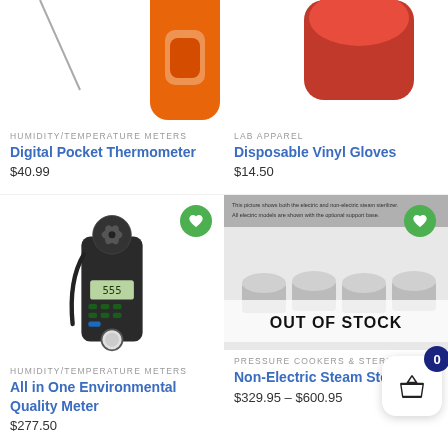[Figure (photo): Digital Pocket Thermometer product photo - orange handle thermometer, cropped at top]
HUMIDITY/TEMPERATURE METERS
Digital Pocket Thermometer
$40.99
[Figure (photo): Disposable Vinyl Gloves product photo, cropped at top]
LAB APPAREL
Disposable Vinyl Gloves
$14.50
[Figure (photo): All in One Environmental Quality Meter - dark handheld device with LCD display and wind vane]
HUMIDITY/TEMPERATURE METERS
All in One Environmental Quality Meter
$277.50
[Figure (photo): Non-Electric Steam Sterilizer product image with OUT OF STOCK overlay]
PRESSURE COOKERS & STERILIZERS
Non-Electric Steam Sterilizer
$329.95 – $600.95